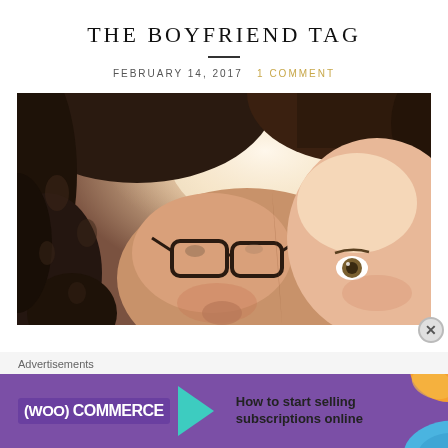THE BOYFRIEND TAG
FEBRUARY 14, 2017   1 COMMENT
[Figure (photo): Close-up selfie of two people cheek to cheek. Person on the left has dark curly hair and glasses; person on the right has short light-colored hair. Bright sunlit background.]
Advertisements
[Figure (screenshot): WooCommerce advertisement banner with purple background, teal play-button arrow, orange and blue accents. Text reads: How to start selling subscriptions online]